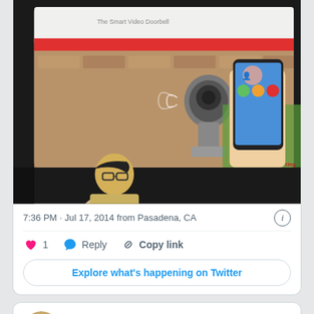[Figure (photo): Photo of a man speaking at a podium with a red lectern in front of a large projection screen showing a smart video doorbell product presentation with a doorbell camera and a smartphone app interface.]
7:36 PM · Jul 17, 2014 from Pasadena, CA
♥ 1   Reply   Copy link
Explore what's happening on Twitter
Glenn Zucman @metro_glen · Follow